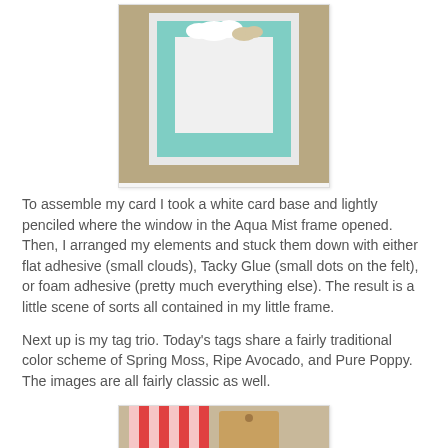[Figure (photo): A handmade greeting card with a white card base, an aqua/mint colored square frame, and small cloud embellishments on a tan/kraft background.]
To assemble my card I took a white card base and lightly penciled where the window in the Aqua Mist frame opened. Then, I arranged my elements and stuck them down with either flat adhesive (small clouds), Tacky Glue (small dots on the felt), or foam adhesive (pretty much everything else). The result is a little scene of sorts all contained in my little frame.
Next up is my tag trio. Today's tags share a fairly traditional color scheme of Spring Moss, Ripe Avocado, and Pure Poppy. The images are all fairly classic as well.
[Figure (photo): Bottom photo partially visible showing red and white striped ribbon and kraft colored tags on a surface.]